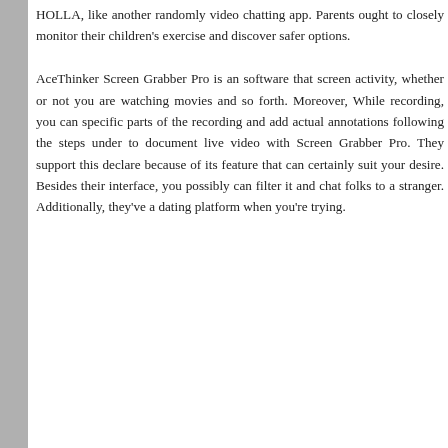HOLLA, like another randomly video chatting app. Parents ought to closely monitor their children's exercise and discover safer options. AceThinker Screen Grabber Pro is an software that screen activity, whether or not you are watching movies and so forth. Moreover, While recording, you can specific parts of the recording and add actual annotations following the steps under to document live video with Screen Grabber Pro. They support this declare because of its feature that can certainly suit your desire. Besides their interface, you possibly can filter it and chat folks to a stranger. Additionally, they've a dating platform when you're trying.
This entry was posted on Thursday, February 3rd, 2022 and filed under Uncategorized. You can follow any responses to this entry through RSS 2.0. Both comments and pings are currently closed.
Patan Academy of Health Sciences is proudly powered by WordPress. Entries (RSS) and Comments (RSS).